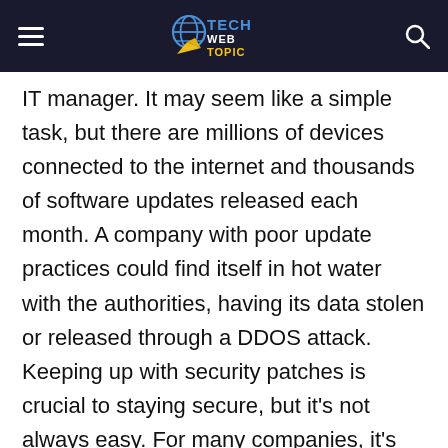TechWebTopic logo with hamburger menu and search icon
IT manager. It may seem like a simple task, but there are millions of devices connected to the internet and thousands of software updates released each month. A company with poor update practices could find itself in hot water with the authorities, having its data stolen or released through a DDOS attack. Keeping up with security patches is crucial to staying secure, but it's not always easy. For many companies, it's difficult or impossible to keep up with all the patches and updates. There may be a lack of resources such as staffing or funding to keep up with the growing list of monthly updates. This can lead to frustration,